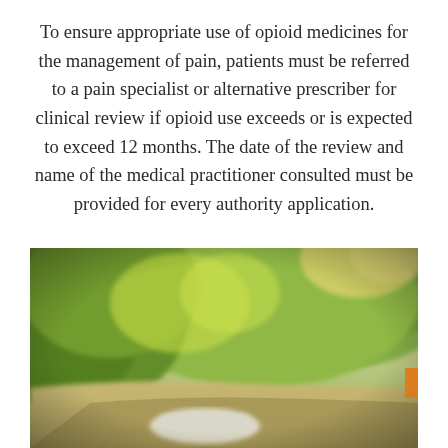To ensure appropriate use of opioid medicines for the management of pain, patients must be referred to a pain specialist or alternative prescriber for clinical review if opioid use exceeds or is expected to exceed 12 months. The date of the review and name of the medical practitioner consulted must be provided for every authority application.
[Figure (photo): A blurred photograph taken from inside a car looking through the windshield at a winding road with lush green tree-covered hills in the background and sunlight filtering through the foliage. The foreground shows the blurred front of a white car ahead on the road.]